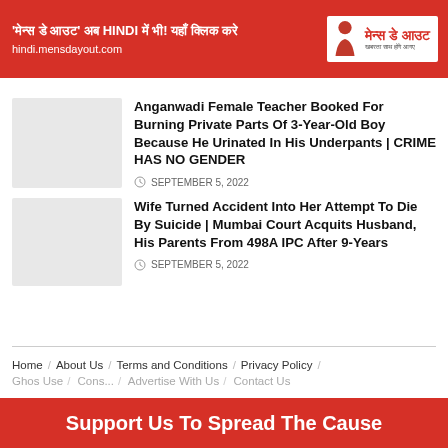'मेन्स डे आउट' अब HINDI में भी! यहाँ क्लिक करे | hindi.mensdayout.com | मेन्स डे आउट
Anganwadi Female Teacher Booked For Burning Private Parts Of 3-Year-Old Boy Because He Urinated In His Underpants | CRIME HAS NO GENDER
SEPTEMBER 5, 2022
Wife Turned Accident Into Her Attempt To Die By Suicide | Mumbai Court Acquits Husband, His Parents From 498A IPC After 9-Years
SEPTEMBER 5, 2022
Home / About Us / Terms and Conditions / Privacy Policy /
Support Us To Spread The Cause